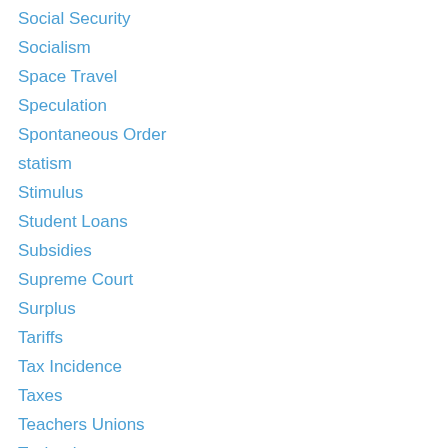Social Security
Socialism
Space Travel
Speculation
Spontaneous Order
statism
Stimulus
Student Loans
Subsidies
Supreme Court
Surplus
Tariffs
Tax Incidence
Taxes
Teachers Unions
Technology
Terror
Terrorism
The Road To Serfdom
Tradeoffs